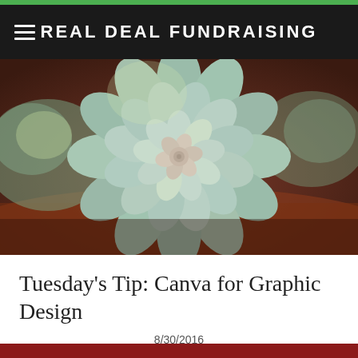REAL DEAL FUNDRAISING
[Figure (photo): Close-up photograph of a blue-green succulent plant (echeveria) with layered petals arranged in a rosette pattern, set against a blurred reddish-brown background. Additional succulents are visible in the background.]
Tuesday's Tip: Canva for Graphic Design
8/30/2016
2 COMMENTS